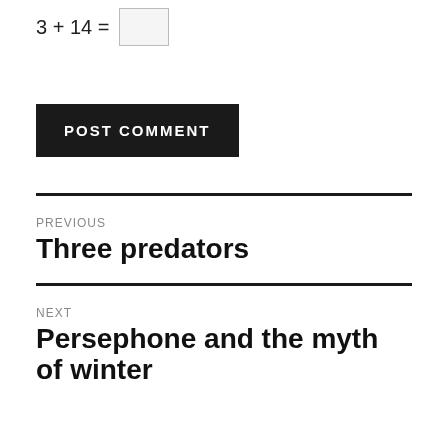POST COMMENT
PREVIOUS
Three predators
NEXT
Persephone and the myth of winter